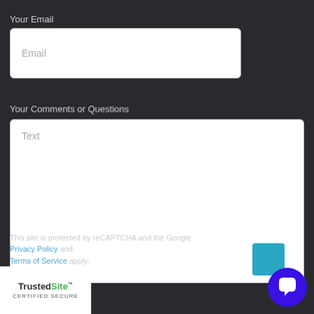Your Email
[Figure (screenshot): Email input field with placeholder text 'Email' on white background with rounded corners]
Your Comments or Questions
[Figure (screenshot): Large text area input field with placeholder text 'Text' on white background with rounded corners and resize handle]
This site is protected by reCAPTCHA and the Google Privacy Policy and Terms of Service apply.
[Figure (logo): TrustedSite CERTIFIED SECURE badge]
[Figure (illustration): Teal square and blue circular chat icon with speech bubble in bottom right corner]